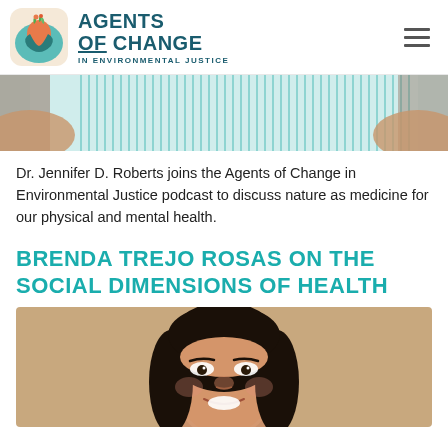Agents of Change in Environmental Justice
[Figure (photo): Partial photo of a person in a striped teal/white dress, cropped to shoulders and upper torso, used as a banner image]
Dr. Jennifer D. Roberts joins the Agents of Change in Environmental Justice podcast to discuss nature as medicine for our physical and mental health.
BRENDA TREJO ROSAS ON THE SOCIAL DIMENSIONS OF HEALTH
[Figure (photo): Headshot photo of Brenda Trejo Rosas, a young woman with long dark hair, smiling, against a tan/beige background]